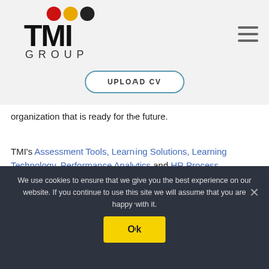[Figure (logo): TMI Group logo with three colored dots (red, yellow, black) above bold TMI text and GROUP below]
[Figure (other): Hamburger menu icon (three horizontal lines)]
[Figure (other): UPLOAD CV button with rounded border]
organization that is ready for the future.
TMI's Assessment Tools, Learning Solutions, Learning Technology, Performance Analytics and HR Process Automation solutions are designed to improve productivity, performance & efficiency.
We use cookies to ensure that we give you the best experience on our website. If you continue to use this site we will assume that you are happy with it.
[Figure (other): Ok button (yellow background)]